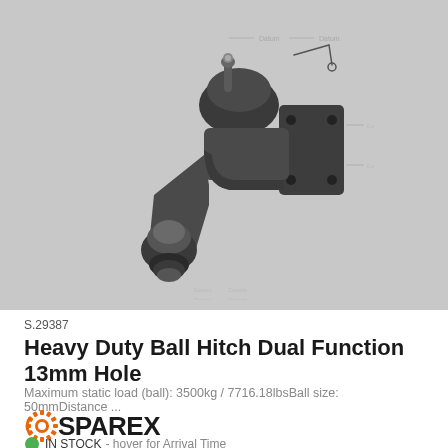[Figure (engineering-diagram): Heavy duty ball hitch dual function 13mm hole component diagram showing the hitch assembly with ball mount, coupling head, safety chain attachment, and mounting plate with bolt holes. Labeled diagram with dimension callouts visible but text is blurred/small.]
S.29387
Heavy Duty Ball Hitch Dual Function 13mm Hole
Maximum static load (ball): 3500kg / 7716.18lbsBall size: 50mmDistance ...
[Figure (logo): SPAREX logo with orange gear/cog icon on the left and SPAREX text in bold black]
IN STOCK - hover for Arrival Time